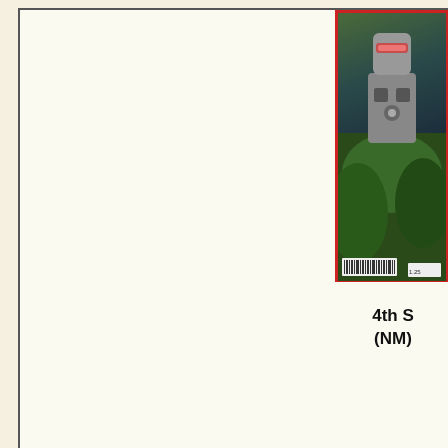[Figure (screenshot): Partial view of a comic book store webpage. Shows a three-column grid layout with empty white columns and a comic book cover image (partially cropped on right) featuring a robot/alien character with red border. Below the image are text labels '4th S' and '(NM)' and a gold 'Add to S' button. A dark red navigation banner runs across the bottom of the main frame.]
Home
Comics Ne
Comics Ne pg2
Comics Ni
Comics Ni pg2
Comics Ni pg3
Nova
Comics Nt
New Gods